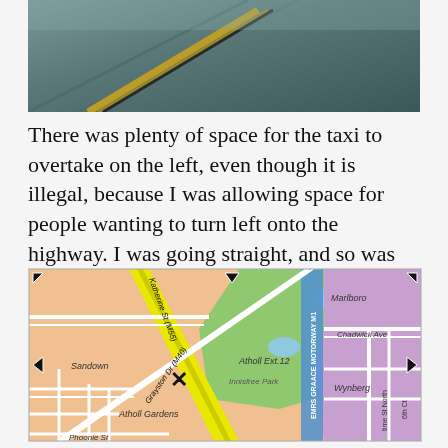[Figure (photo): Close-up photo of a road surface showing asphalt with yellow and dark lane markings]
There was plenty of space for the taxi to overtake on the left, even though it is illegal, because I was allowing space for people wanting to turn left onto the highway. I was going straight, and so was he, by the looks of things.
[Figure (map): Street map showing the intersection area with Katherine St (M55), Grayston Dr (M40), EMRS GRAACE MOTORWAY (M1), showing neighborhoods Sandown, Atholl Ext.12, Innisfree Park, Atholl Gardens, Wynberg, Marlboro, and Chadwick Ave. An X marker is placed on Grayston Dr (M40).]